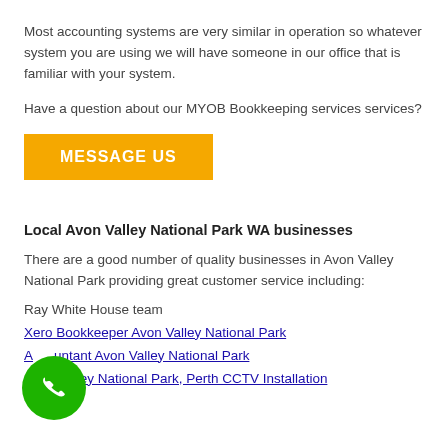Most accounting systems are very similar in operation so whatever system you are using we will have someone in our office that is familiar with your system.
Have a question about our MYOB Bookkeeping services services?
[Figure (other): Orange button with white uppercase text reading MESSAGE US]
Local Avon Valley National Park WA businesses
There are a good number of quality businesses in Avon Valley National Park providing great customer service including:
Ray White House team
Xero Bookkeeper Avon Valley National Park
Accountant Avon Valley National Park
Avon Valley National Park, Perth CCTV Installation
[Figure (other): Green circular phone/call button icon at bottom left]